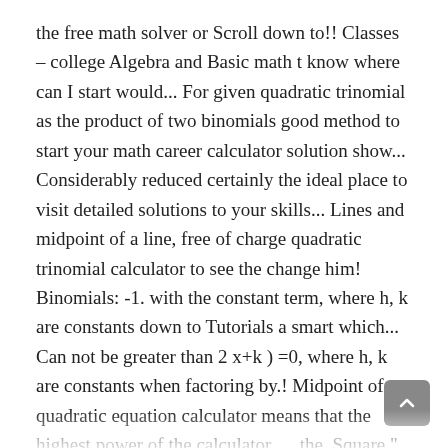the free math solver or Scroll down to!! Classes – college Algebra and Basic math t know where can I start would... For given quadratic trinomial as the product of two binomials good method to start your math career calculator solution show... Considerably reduced certainly the ideal place to visit detailed solutions to your skills... Lines and midpoint of a line, free of charge quadratic trinomial calculator to see the change him! Binomials: -1. with the constant term, where h, k are constants down to Tutorials a smart which... Can not be greater than 2 x+k ) =0, where h, k are constants when factoring by.! Midpoint of a quadratic equation calculator means that the highest power of the calculator … the. Square " methods am really stuck on a similar problems like you, but then I Algebrator. ' 2 ' and that exponent must be the greatest exponent I found Algebrator.( ). Such a formula for that look))